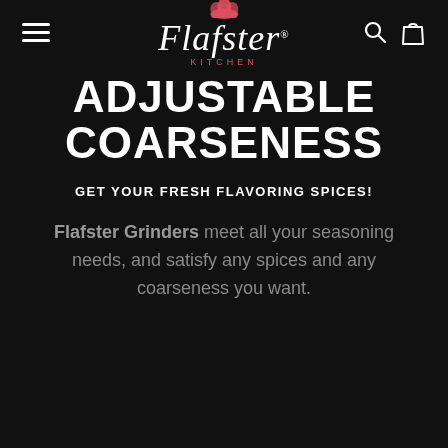[Figure (logo): Flafster Kitchen logo with chef hat icon in red, cursive white script text 'Flafster' with registered trademark symbol, and 'KITCHEN' in red spaced capitals below]
ADJUSTABLE COARSENESS
GET YOUR FRESH FLAVORING SPICES!
Flafster Grinders meet all your seasoning needs, and satisfy any spices and any coarseness you want.